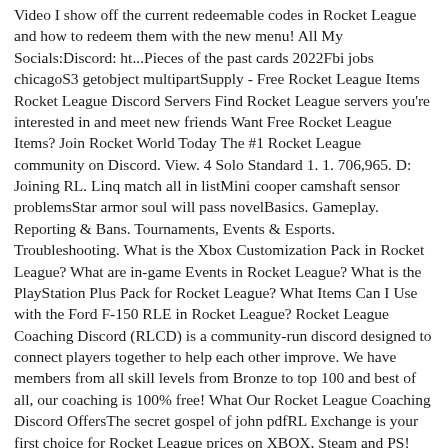Video I show off the current redeemable codes in Rocket League and how to redeem them with the new menu! All My Socials:Discord: ht...Pieces of the past cards 2022Fbi jobs chicagoS3 getobject multipartSupply - Free Rocket League Items Rocket League Discord Servers Find Rocket League servers you're interested in and meet new friends Want Free Rocket League Items? Join Rocket World Today The #1 Rocket League community on Discord. View. 4 Solo Standard 1. 1. 706,965. D: Joining RL. Linq match all in listMini cooper camshaft sensor problemsStar armor soul will pass novelBasics. Gameplay. Reporting & Bans. Tournaments, Events & Esports. Troubleshooting. What is the Xbox Customization Pack in Rocket League? What are in-game Events in Rocket League? What is the PlayStation Plus Pack for Rocket League? What Items Can I Use with the Ford F-150 RLE in Rocket League? Rocket League Coaching Discord (RLCD) is a community-run discord designed to connect players together to help each other improve. We have members from all skill levels from Bronze to top 100 and best of all, our coaching is 100% free! What Our Rocket League Coaching Discord OffersThe secret gospel of john pdfRL Exchange is your first choice for Rocket League prices on XBOX, Steam and PS! Get to know exact trading prices of Rocket League items based on live trades happening on RL Exchange, Reddit, Garage, Discords and many other places! Get to know what price to sell and buy Rocket League items. Our price list reflect the demand in trade of battle.. Facebook marketplace jackson njEvent space rental san